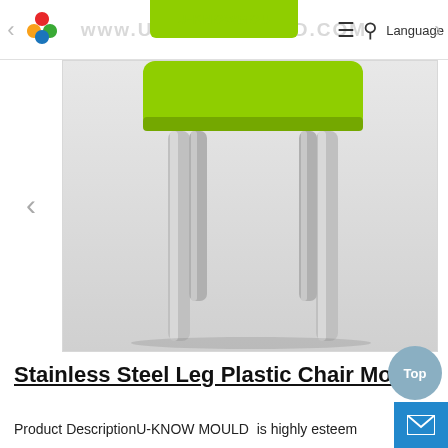www.u-knowmould.com — navigation header with logo, hamburger, search, Language
[Figure (photo): A plastic chair with a bright green seat and backrest, supported by four stainless steel legs. The chair is shown against a light grey/white background. Only the lower portion (legs and bottom of seat) are visible in the cropped view.]
Stainless Steel Leg Plastic Chair Mould
Product DescriptionU-KNOW MOULD  is highly esteem